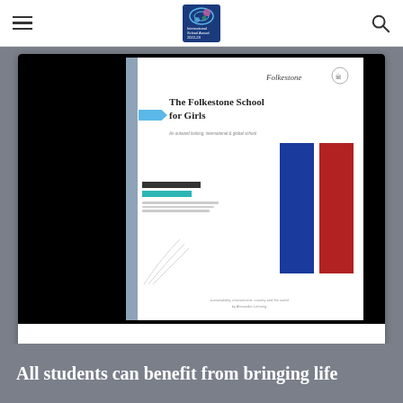International School Award 2022-23 (logo) [navigation bar with hamburger menu and search icon]
[Figure (screenshot): Preview thumbnail of a school brochure PDF showing 'The Folkestone School for Girls - An outward looking, international & global school' with a blue and red bar chart on a white background with black sidebar decoration]
ISA Brochure 2021.pdf
All students can benefit from bringing life